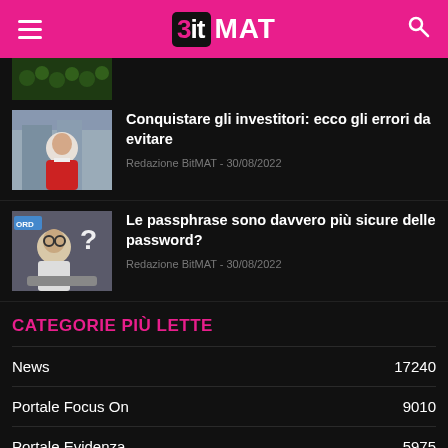BitMAT
[Figure (photo): Partial thumbnail of a news article at top, showing green leaf pattern]
Conquistare gli investitori: ecco gli errori da evitare
Redazione BitMAT - 30/08/2022
[Figure (photo): Thumbnail of person with glasses looking surprised at a question mark, with PASSWORD label]
Le passphrase sono davvero più sicure delle password?
Redazione BitMAT - 30/08/2022
CATEGORIE PIÙ LETTE
News 17240
Portale Focus On 9010
Portale Evidenza 5975